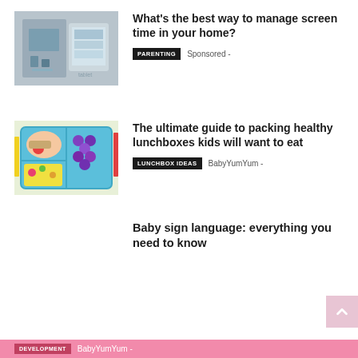[Figure (photo): Child with tablet on table with drawings, screen time photo]
What's the best way to manage screen time in your home?
PARENTING   Sponsored -
[Figure (photo): Blue lunchbox with healthy food sections including sandwich, grapes, and mixed items]
The ultimate guide to packing healthy lunchboxes kids will want to eat
LUNCHBOX IDEAS   BabyYumYum -
Baby sign language: everything you need to know
DEVELOPMENT   BabyYumYum -